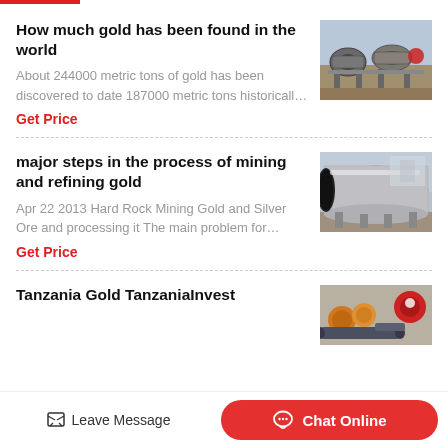How much gold has been found in the world
About 244000 metric tons of gold has been discovered to date 187000 metric tons historicall…
Get Price
[Figure (photo): Industrial mining equipment - drum/roller machinery]
major steps in the process of mining and refining gold
Apr 22 2013 Hard Rock Mining Gold and Silver Ore and processing it The main problem for…
Get Price
[Figure (photo): Large industrial cylindrical tubes/pipes for mining]
Tanzania Gold TanzaniaInvest
[Figure (photo): Mining equipment with colorful tanks and pipes]